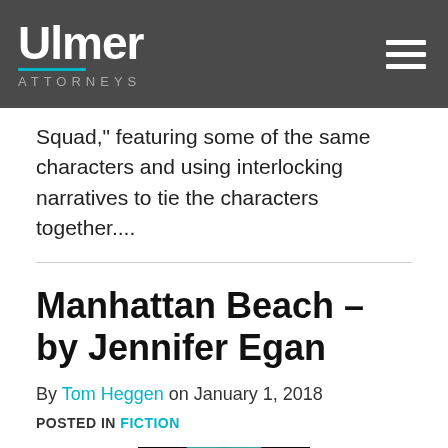Ulmer ATTORNEYS
Squad," featuring some of the same characters and using interlocking narratives to tie the characters together....
Manhattan Beach – by Jennifer Egan
By Tom Heggen on January 1, 2018
POSTED IN FICTION
[Figure (photo): Book cover of Manhattan Beach by Jennifer Egan, showing a teal/green circular shape on a dark background with the title MANHATTAN at the bottom]